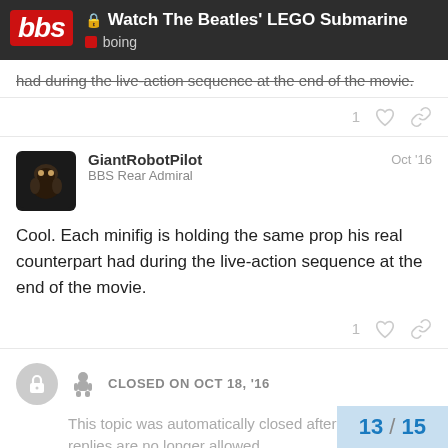Watch The Beatles' LEGO Submarine | boing
had during the live-action sequence at the end of the movie.
GiantRobotPilot  Oct '16
BBS Rear Admiral
Cool. Each minifig is holding the same prop his real counterpart had during the live-action sequence at the end of the movie.
CLOSED ON OCT 18, '16
This topic was automatically closed after 5 days. New replies are no longer allowed.
13 / 15